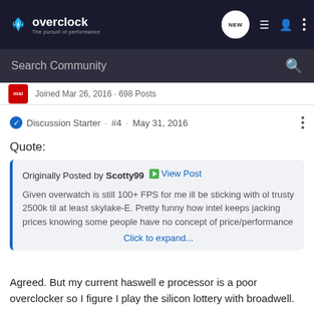overclock.net - The pursuit of performance
Search Community
msi  Joined Mar 26, 2016 · 698 Posts
Discussion Starter · #4 · May 31, 2016
Quote:
Originally Posted by Scotty99 View Post

Given overwatch is still 100+ FPS for me ill be sticking with ol trusty 2500k til at least skylake-E. Pretty funny how intel keeps jacking prices knowing some people have no concept of price/performance

Click to expand...
Agreed. But my current haswell e processor is a poor overclocker so I figure I play the silicon lottery with broadwell.